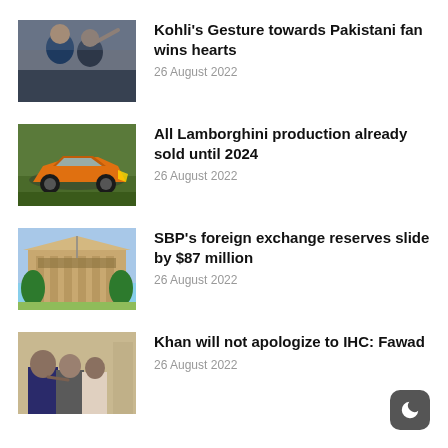[Figure (photo): Two men taking a selfie, cricket context, Kohli and Pakistani fan]
Kohli's Gesture towards Pakistani fan wins hearts
26 August 2022
[Figure (photo): Orange Lamborghini sports car on grass]
All Lamborghini production already sold until 2024
26 August 2022
[Figure (photo): State Bank of Pakistan building exterior]
SBP's foreign exchange reserves slide by $87 million
26 August 2022
[Figure (photo): Two men in conversation, Khan and Fawad]
Khan will not apologize to IHC: Fawad
26 August 2022